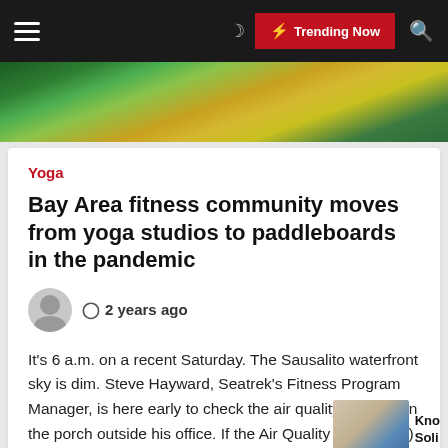≡  🌙  ⚡ Trending Now  🔍
[Figure (photo): Aerial view of paddleboards or kayaks on green water]
Yoga
Bay Area fitness community moves from yoga studios to paddleboards in the pandemic
2 years ago
It's 6 a.m. on a recent Saturday. The Sausalito waterfront sky is dim. Steve Hayward, Seatrek's Fitness Program Manager, is here early to check the air quality monitor on the porch outside his office. If the Air Quality Index (AQI) is 140 and rising toward the red zone, he starts […]
[Figure (photo): Person writing at desk with blue bottle, partial view]